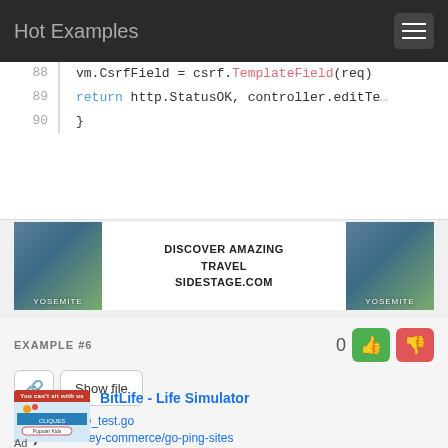Hot Examples
88   vm.CsrfField = csrf.TemplateField(req)
89   return http.StatusOK, controller.editTe...
90   }
[Figure (photo): Advertisement banner for sidestage.com showing Yosemite mountain scenery with text: DISCOVER AMAZING TRAVEL SIDESTAGE.COM]
EXAMPLE #6
Show file
File: database_test.go
Project: turnkey-commerce/go-ping-sites
[Figure (screenshot): BitLife - Life Simulator advertisement showing app screenshot with You can't sit with us banner]
Ad